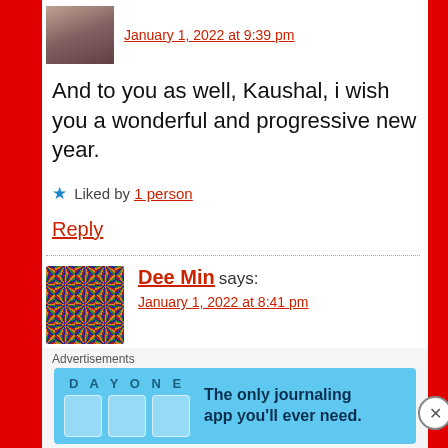January 1, 2022 at 9:39 pm
And to you as well, Kaushal, i wish you a wonderful and progressive new year.
★ Liked by 1 person
Reply
Dee Min says:
January 1, 2022 at 8:41 pm
Amen. Wishing you a blessed year and added
Advertisements
[Figure (infographic): Day One app advertisement banner with sky blue background, app logo, three icon placeholders, and tagline 'The only journaling app you'll ever need.']